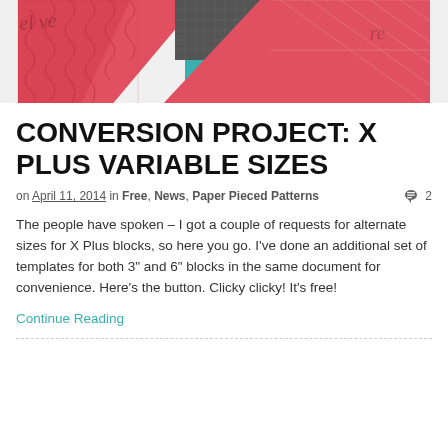[Figure (photo): Quilt block image showing red, grey/black, and teal fabric pieces arranged in an X Plus pattern. Partially cropped at top.]
CONVERSION PROJECT: X PLUS VARIABLE SIZES
on April 11, 2014 in Free, News, Paper Pieced Patterns  💬 2
The people have spoken – I got a couple of requests for alternate sizes for X Plus blocks, so here you go. I've done an additional set of templates for both 3" and 6" blocks in the same document for convenience. Here's the button. Clicky clicky! It's free!
Continue Reading